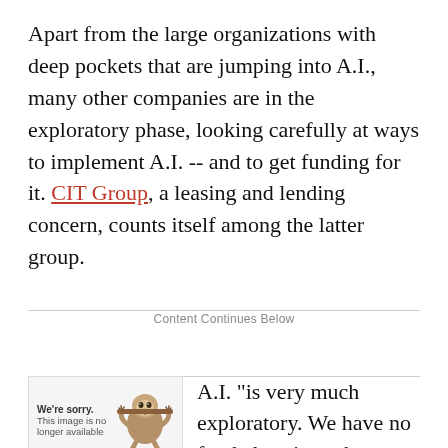Apart from the large organizations with deep pockets that are jumping into A.I., many other companies are in the exploratory phase, looking carefully at ways to implement A.I. -- and to get funding for it. CIT Group, a leasing and lending concern, counts itself among the latter group.
Content Continues Below
[Figure (illustration): Image placeholder with 'We're sorry. This image is no longer available' text and a sloth cartoon illustration]
B.J. Fesq, chief data officer, says CIT Group is interested
A.I. "is very much exploratory. We have no funded projects, but are experimenting with a few use cases to see if there is a